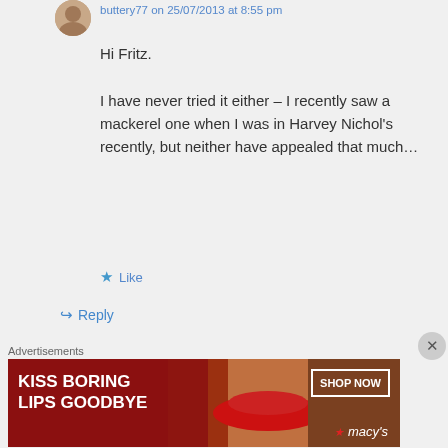buttery77 on 25/07/2013 at 8:55 pm
Hi Fritz.

I have never tried it either – I recently saw a mackerel one when I was in Harvey Nichol's recently, but neither have appealed that much…
Like
Reply
Fritz on 10/08/2013 at 8:12 pm
I used 4 oz of anchovies with 4 oz…
Advertisements
[Figure (photo): Macy's advertisement banner: 'KISS BORING LIPS GOODBYE' with a woman's face and red lips, and a 'SHOP NOW' button with the Macy's star logo]